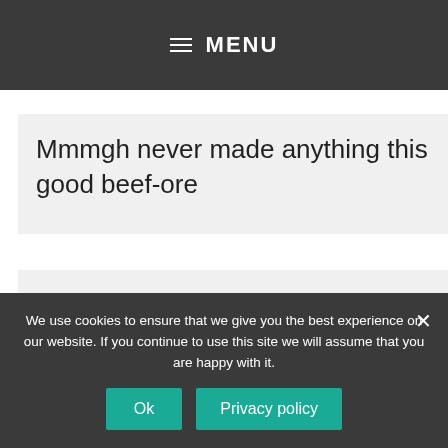≡ MENU
Mmmgh never made anything this good beef-ore
🎵 Just call my name, and I'll beef there 🎵
We use cookies to ensure that we give you the best experience on our website. If you continue to use this site we will assume that you are happy with it.
Ok
Privacy policy